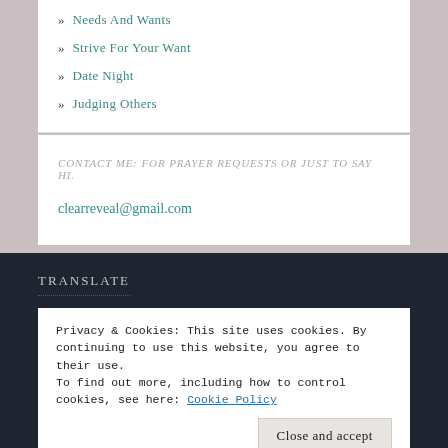» Needs And Wants
» Strive For Your Want
» Date Night
» Judging Others
CONTACT ME: FOR PRAYER REQUESTS OR JUST TO SAY HI.
clearreveal@gmail.com
TRANSLATE
Privacy & Cookies: This site uses cookies. By continuing to use this website, you agree to their use. To find out more, including how to control cookies, see here: Cookie Policy
Close and accept